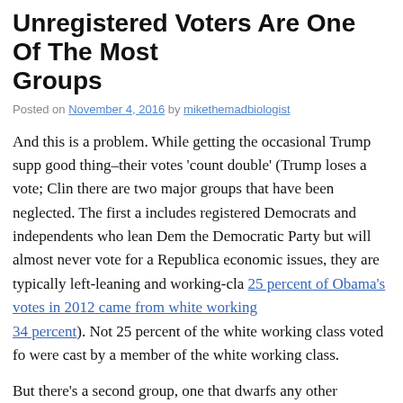Unregistered Voters Are One Of The Most... Groups
Posted on November 4, 2016 by mikethemadbiologist
And this is a problem. While getting the occasional Trump supp... good thing–their votes 'count double' (Trump loses a vote; Clin... there are two major groups that have been neglected. The first a... includes registered Democrats and independents who lean Dem... the Democratic Party but will almost never vote for a Republica... economic issues, they are typically left-leaning and working-cla... 25 percent of Obama's votes in 2012 came from white working... 34 percent). Not 25 percent of the white working class voted fo... were cast by a member of the white working class.
But there's a second group, one that dwarfs any other demograp... McElwee explains (boldface mine):
To explore the attitudes of the unregistered I used both t... data from the Economist/YouGov tracking polls. First...